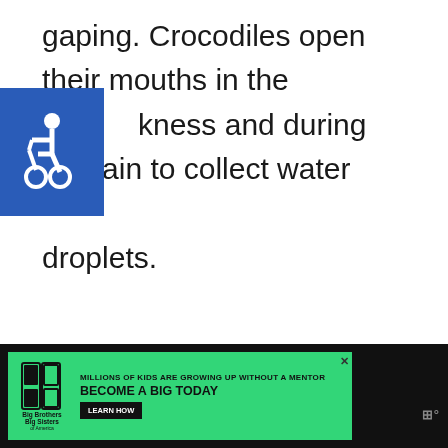gaping. Crocodiles open their mouths in the darkness and during the rain to collect water droplets.
[Figure (screenshot): Accessibility icon (wheelchair symbol) in white on blue background, overlaid on the text]
[Figure (photo): Light gray placeholder image area below the text]
[Figure (screenshot): Blue circular heart/like button with count 2, and a share button below it on the right side]
[Figure (screenshot): Advertisement banner: Big Brothers Big Sisters - Millions of kids are growing up without a mentor. Become a big today. Learn How. With close button and W logo.]